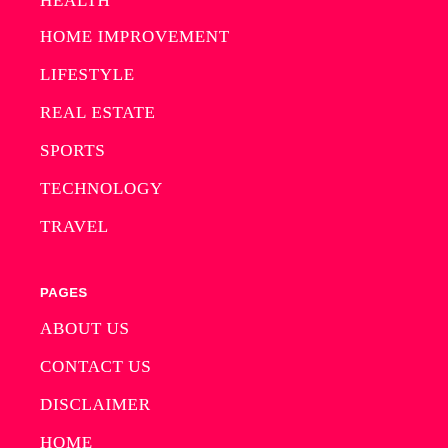HEALTH
HOME IMPROVEMENT
LIFESTYLE
REAL ESTATE
SPORTS
TECHNOLOGY
TRAVEL
PAGES
ABOUT US
CONTACT US
DISCLAIMER
HOME